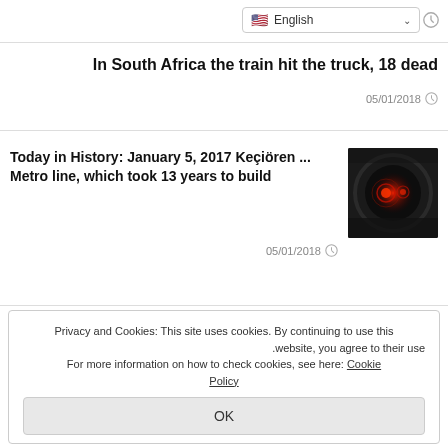English 🇺🇸
In South Africa the train hit the truck, 18 dead
05/01/2018
Today in History: January 5, 2017 Keçiören ... Metro line, which took 13 years to build
[Figure (photo): Dark metro tunnel with red glowing lights, train visible]
05/01/2018
Privacy and Cookies: This site uses cookies. By continuing to use this website, you agree to their use.
For more information on how to check cookies, see here: Cookie Policy
OK